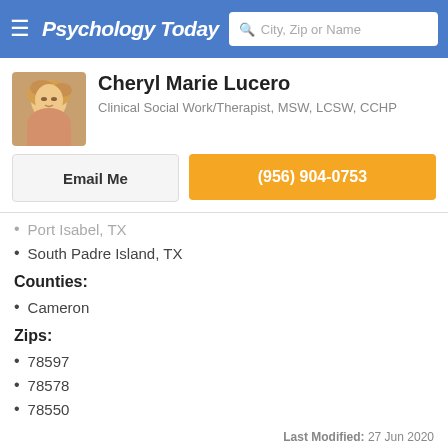Psychology Today — City, Zip or Name
Cheryl Marie Lucero
Clinical Social Work/Therapist, MSW, LCSW, CCHP
Email Me
(956) 904-0753
Port Isabel, TX
South Padre Island, TX
Counties:
Cameron
Zips:
78597
78578
78550
Last Modified: 27 Jun 2020